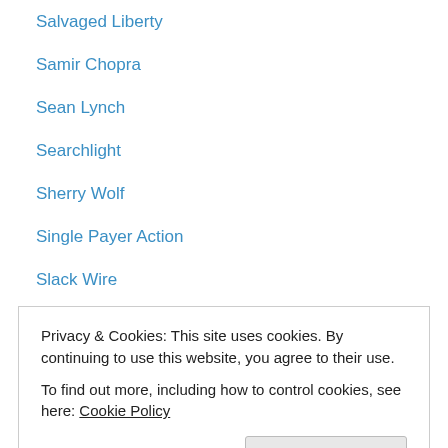Salvaged Liberty
Samir Chopra
Sean Lynch
Searchlight
Sherry Wolf
Single Payer Action
Slack Wire
Solidaridad
Some Carolinian
Splintered Sunrise
Stan Goff
Subterranean Dispatches
Swan's
Privacy & Cookies: This site uses cookies. By continuing to use this website, you agree to their use.
To find out more, including how to control cookies, see here: Cookie Policy
Close and accept